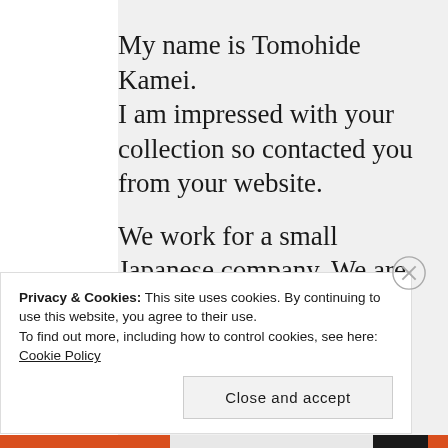My name is Tomohide Kamei.
I am impressed with your collection so contacted you from your website.

We work for a small Japanese company. We are trying to create a website to introduce Japanese
Privacy & Cookies: This site uses cookies. By continuing to use this website, you agree to their use.
To find out more, including how to control cookies, see here: Cookie Policy
Close and accept